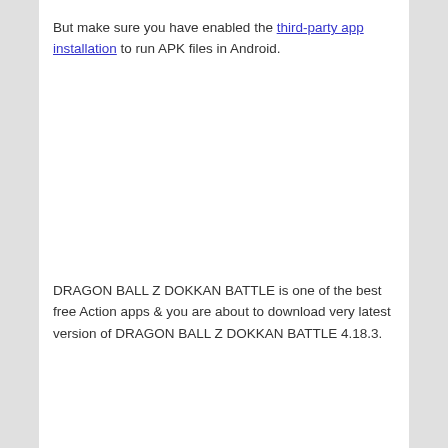But make sure you have enabled the third-party app installation to run APK files in Android.
DRAGON BALL Z DOKKAN BATTLE is one of the best free Action apps & you are about to download very latest version of DRAGON BALL Z DOKKAN BATTLE 4.18.3.